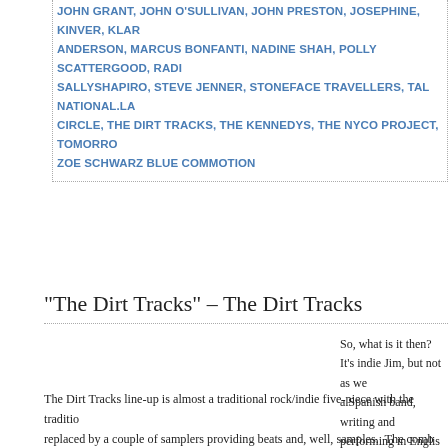JOHN GRANT, JOHN O'SULLIVAN, JOHN PRESTON, JOSEPHINE, KINVER, KLAR ANDERSON, MARCUS BONFANTI, NADINE SHAH, POLLY SCATTERGOOD, RADI SALLYSHAPIRO, STEVE JENNER, STONEFACE TRAVELLERS, TAL NATIONAL.LA CIRCLE, THE DIRT TRACKS, THE KENNEDYS, THE NYCO PROJECT, TOMORRO ZOE SCHWARZ BLUE COMMOTION
“The Dirt Tracks” – The Dirt Tracks
So, what is it then?  It’s indie Jim, but not as we know it. They’re a Spanish band, writing and performing in English. I caught them during their UK tour earlier this year and followed up with their third single “Kaleidoscope”.  You might have seen or heard comparisons with a certain band from Oxford, but it’s much more than that; there are many influences on show here and Oxford is just one of those.  What the band does very successfully is take elements and influences from a wide range of sources and eras and mixes in their own ideas to create sounds which are very defin
The Dirt Tracks line-up is almost a traditional rock/indie five-piece with the traditional replaced by a couple of samplers providing beats and, well, samples.  The comb melodic basslines and samplers allows the band to create a huge variety of tex